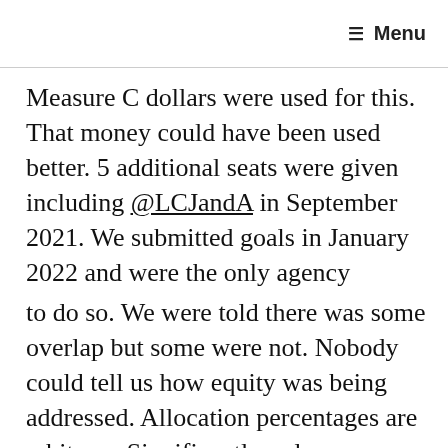Menu
Measure C dollars were used for this. That money could have been used better. 5 additional seats were given including @LCJandA in September 2021. We submitted goals in January 2022 and were the only agency
to do so. We were told there was some overlap but some were not. Nobody could tell us how equity was being addressed. Allocation percentages are arbitrary. Significantly reduces funding for much needed public transit. Need to account for